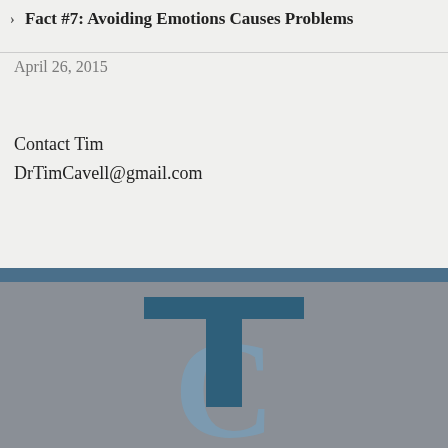› Fact #7: Avoiding Emotions Causes Problems
April 26, 2015
Contact Tim
DrTimCavell@gmail.com
[Figure (logo): TC monogram logo in dark blue and muted blue-grey on a grey background]